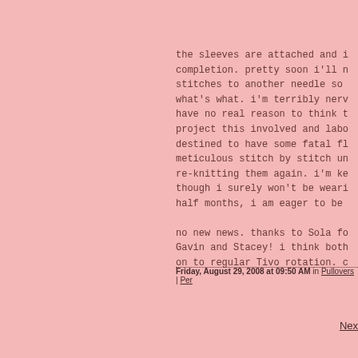the sleeves are attached and i completion. pretty soon i'll n stitches to another needle so what's what. i'm terribly nerv have no real reason to think t project this involved and labo destined to have some fatal fl meticulous stitch by stitch un re-knitting them again. i'm ke though i surely won't be weari half months, i am eager to be
no new news. thanks to Sola fo Gavin and Stacey! i think both on to regular Tivo rotation. c
Friday, August 29, 2008 at 09:50 AM in Pullovers | Per
Nex